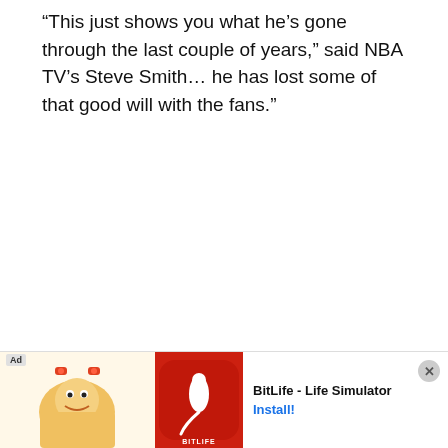“This just shows you what he’s gone through the last couple of years,” said NBA TV’s Steve Smith… he has lost some of that good will with the fans.”
Howard is considered a great player. He’s had some dominating moments. Before the grueling work ethic of Hibbert...
[Figure (other): Mobile advertisement banner for BitLife - Life Simulator app, showing Ad label, cartoon character graphic, BitLife logo with sperm icon, app name, and Install button with close (X) button]